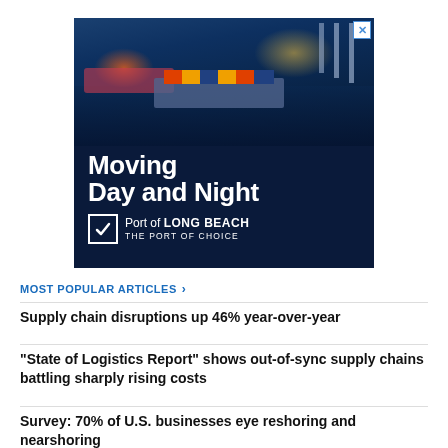[Figure (photo): Advertisement for Port of Long Beach showing aerial night photo of port with text 'Moving Day and Night' and Port of Long Beach logo with tagline 'The Port of Choice']
MOST POPULAR ARTICLES >
Supply chain disruptions up 46% year-over-year
“State of Logistics Report” shows out-of-sync supply chains battling sharply rising costs
Survey: 70% of U.S. businesses eye reshoring and nearshoring